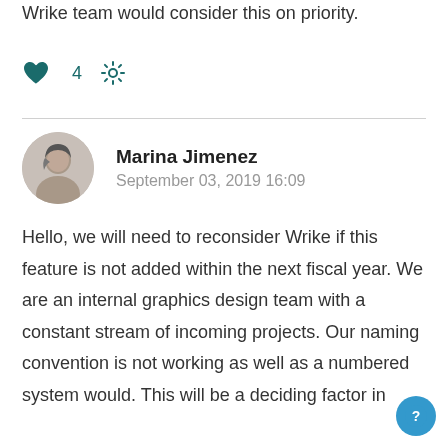Wrike team would consider this on priority.
[Figure (other): Heart icon with count 4 and gear/settings icon]
Marina Jimenez
September 03, 2019 16:09
Hello, we will need to reconsider Wrike if this feature is not added within the next fiscal year. We are an internal graphics design team with a constant stream of incoming projects. Our naming convention is not working as well as a numbered system would. This will be a deciding factor in